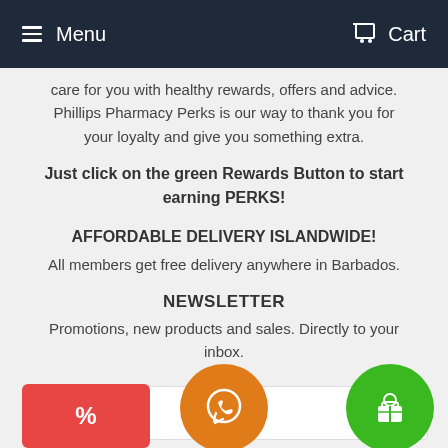Menu | Cart
care for you with healthy rewards, offers and advice. Phillips Pharmacy Perks is our way to thank you for your loyalty and give you something extra.
Just click on the green Rewards Button to start earning PERKS!
AFFORDABLE DELIVERY ISLANDWIDE!
All members get free delivery anywhere in Barbados.
NEWSLETTER
Promotions, new products and sales. Directly to your inbox.
[Figure (screenshot): Email input field with placeholder 'address', red discount button with % icon, orange WhatsApp chat button, and green rewards gift button]